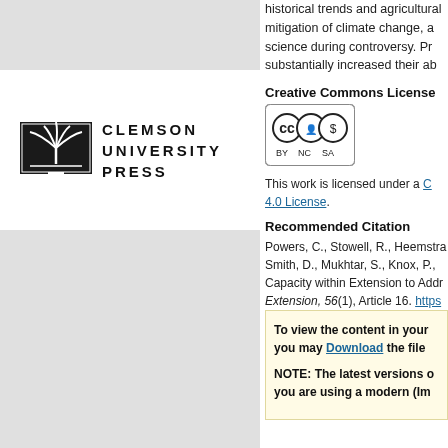[Figure (logo): Clemson University Press logo with palm tree icon and bold text CLEMSON UNIVERSITY PRESS]
historical trends and agricultural mitigation of climate change, a science during controversy. Pr substantially increased their ab
Creative Commons License
[Figure (logo): Creative Commons BY NC SA license badge]
This work is licensed under a Creative Commons Attribution-NonCommercial-ShareAlike 4.0 License.
Recommended Citation
Powers, C., Stowell, R., Heemstra, Smith, D., Mukhtar, S., Knox, P., Capacity within Extension to Addr Extension, 56(1), Article 16. https
To view the content in your you may Download the file NOTE: The latest versions o you are using a modern (Im